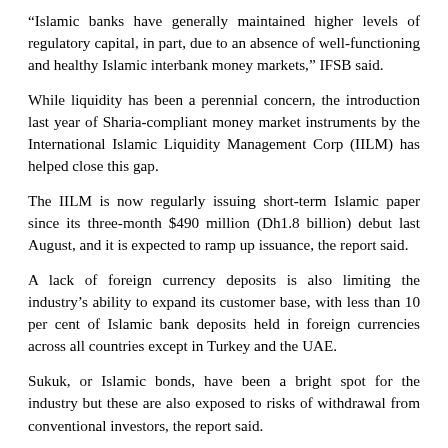“Islamic banks have generally maintained higher levels of regulatory capital, in part, due to an absence of well-functioning and healthy Islamic interbank money markets,” IFSB said.
While liquidity has been a perennial concern, the introduction last year of Sharia-compliant money market instruments by the International Islamic Liquidity Management Corp (IILM) has helped close this gap.
The IILM is now regularly issuing short-term Islamic paper since its three-month $490 million (Dh1.8 billion) debut last August, and it is expected to ramp up issuance, the report said.
A lack of foreign currency deposits is also limiting the industry’s ability to expand its customer base, with less than 10 per cent of Islamic bank deposits held in foreign currencies across all countries except in Turkey and the UAE.
Sukuk, or Islamic bonds, have been a bright spot for the industry but these are also exposed to risks of withdrawal from conventional investors, the report said.
Investors with no specific Sharia-compliant investment mandate